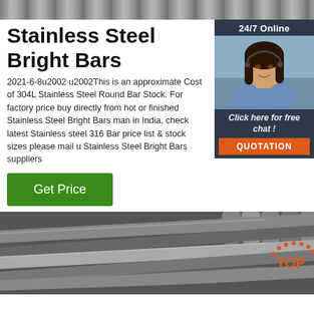[Figure (photo): Top banner image showing stainless steel material surface]
Stainless Steel Bright Bars
2021-6-8u2002·u2002This is an approximate Cost of 304L Stainless Steel Round Bar Stock. For factory price buy directly from hot or finished Stainless Steel Bright Bars man in India, check latest Stainless steel 316 Bar price list & stock sizes please mail u Stainless Steel Bright Bars suppliers
[Figure (photo): Chat widget with woman wearing headset, 24/7 Online label, Click here for free chat, and QUOTATION button]
[Figure (other): Get Price green button]
[Figure (photo): Bottom image showing stainless steel pipes/tubes stacked together with TOP badge in orange]